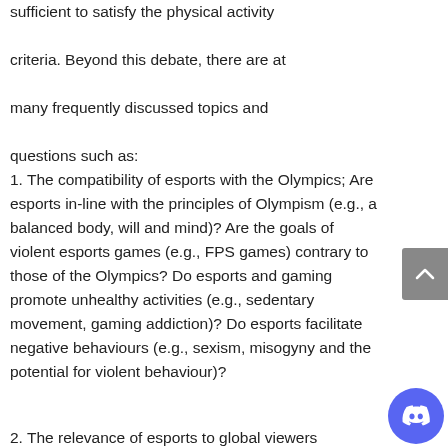sufficient to satisfy the physical activity criteria. Beyond this debate, there are at many frequently discussed topics and questions such as:
1. The compatibility of esports with the Olympics; Are esports in-line with the principles of Olympism (e.g., a balanced body, will and mind)? Are the goals of violent esports games (e.g., FPS games) contrary to those of the Olympics? Do esports and gaming promote unhealthy activities (e.g., sedentary movement, gaming addiction)? Do esports facilitate negative behaviours (e.g., sexism, misogyny and the potential for violent behaviour)?
2. The relevance of esports to global viewers...